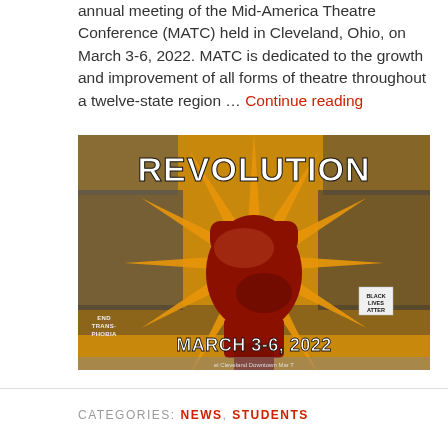annual meeting of the Mid-America Theatre Conference (MATC) held in Cleveland, Ohio, on March 3-6, 2022. MATC is dedicated to the growth and improvement of all forms of theatre throughout a twelve-state region … Continue reading
[Figure (illustration): REVOLUTION conference poster for MATC annual meeting March 3-6, 2022. Features large text 'REVOLUTION' at top, a raised fist graphic in red/dark red on orange sunburst background with collage images. Text 'MARCH 3-6, 2022' at bottom. Partially cut off text at very bottom.]
CATEGORIES: NEWS, STUDENTS